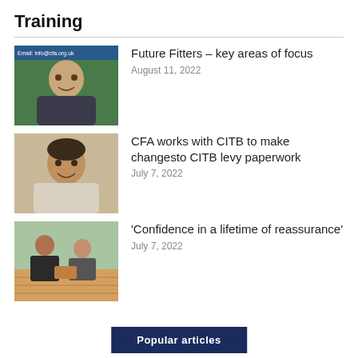Training
[Figure (photo): Man in suit smiling, green background with email address visible]
Future Fitters – key areas of focus
August 11, 2022
[Figure (photo): Man smiling, beige/neutral background]
CFA works with CITB to make changesto CITB levy paperwork
July 7, 2022
[Figure (photo): Two workers installing flooring, wooden planks visible]
'Confidence in a lifetime of reassurance'
July 7, 2022
Popular articles